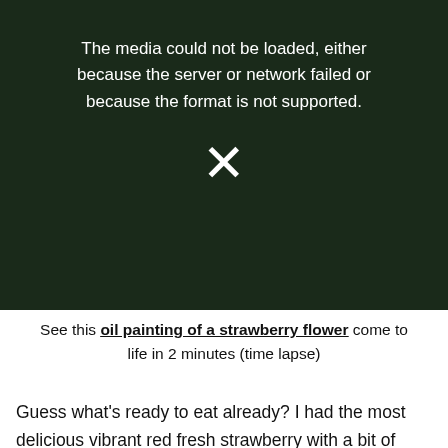[Figure (screenshot): Video player with dark background showing a strawberry painting image underneath, displaying an error message: 'The media could not be loaded, either because the server or network failed or because the format is not supported.' with an X icon.]
See this oil painting of a strawberry flower come to life in 2 minutes (time lapse)
Guess what's ready to eat already? I had the most delicious vibrant red fresh strawberry with a bit of whipped cream, MMMM! But you know what's the most delicious of all? The fact that I get to keep my strawberry plant and enough of my garden that I'm not losing my garden after all! I sold about half of it and there's still an